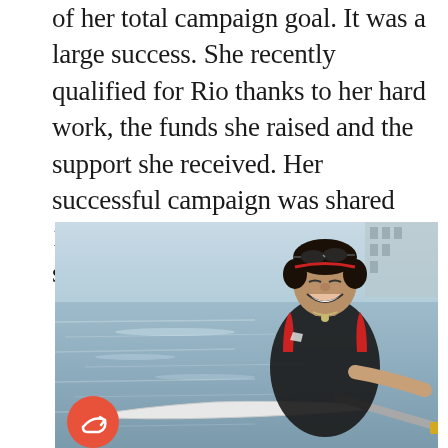of her total campaign goal. It was a large success. She recently qualified for Rio thanks to her hard work, the funds she raised and the support she received. Her successful campaign was shared 1300 times and she had 132 supporters.
[Figure (photo): A smiling young woman in a red, black and white rowing athletic outfit, sitting in a rowing scull on the water, holding an oar with a yellow handle. She has sunglasses on her head. A share button (orange circle with a reply/share arrow icon) is visible in the bottom-left corner of the image.]